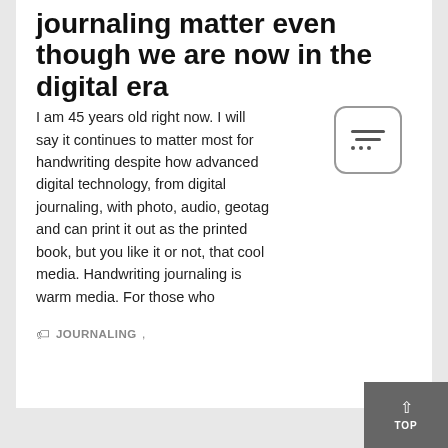journaling matter even though we are now in the digital era
I am 45 years old right now. I will say it continues to matter most for handwriting despite how advanced digital technology, from digital journaling, with photo, audio, geotag and can print it out as the printed book, but you like it or not, that cool media. Handwriting journaling is warm media. For those who
JOURNALING ,